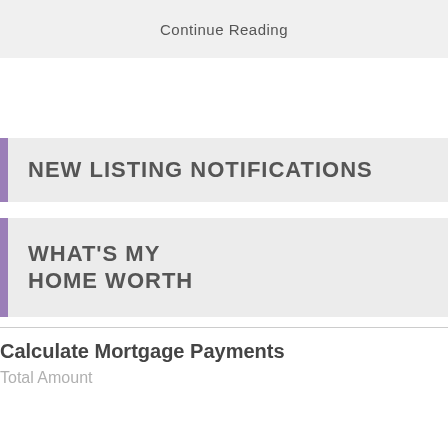Continue Reading
NEW LISTING NOTIFICATIONS
WHAT'S MY HOME WORTH
Calculate Mortgage Payments
Total Amount